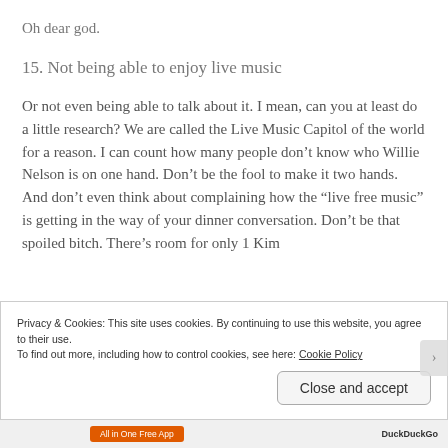Oh dear god.
15. Not being able to enjoy live music
Or not even being able to talk about it. I mean, can you at least do a little research? We are called the Live Music Capitol of the world for a reason. I can count how many people don't know who Willie Nelson is on one hand. Don't be the fool to make it two hands. And don't even think about complaining how the “live free music” is getting in the way of your dinner conversation. Don't be that spoiled bitch. There’s room for only 1 Kim
Privacy & Cookies: This site uses cookies. By continuing to use this website, you agree to their use.
To find out more, including how to control cookies, see here: Cookie Policy
Close and accept